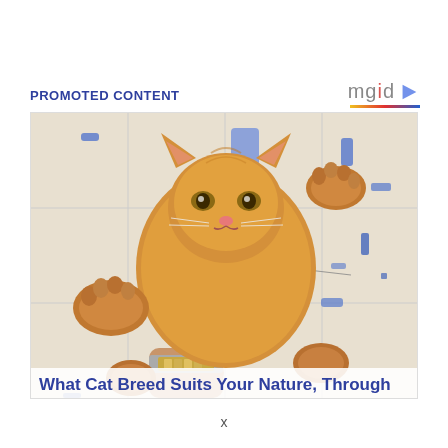PROMOTED CONTENT
[Figure (logo): mgid logo with play button icon and colored underline]
[Figure (photo): A fluffy orange/ginger kitten being held up by a human hand wearing a watch, with the cat's paws spread out. The background is a white tiled floor with scattered blue objects. The image is a promoted content advertisement thumbnail.]
What Cat Breed Suits Your Nature, Through